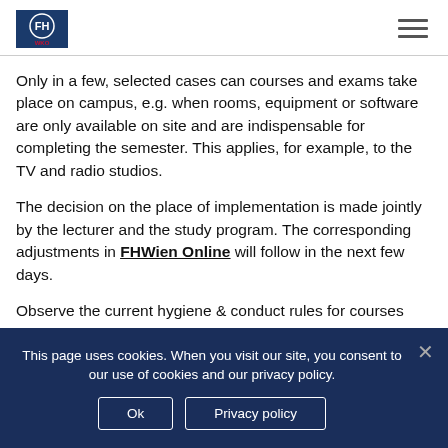FHWien logo and navigation menu
Only in a few, selected cases can courses and exams take place on campus, e.g. when rooms, equipment or software are only available on site and are indispensable for completing the semester. This applies, for example, to the TV and radio studios.
The decision on the place of implementation is made jointly by the lecturer and the study program. The corresponding adjustments in FHWien Online will follow in the next few days.
Observe the current hygiene & conduct rules for courses and exams on campus:
This page uses cookies. When you visit our site, you consent to our use of cookies and our privacy policy.